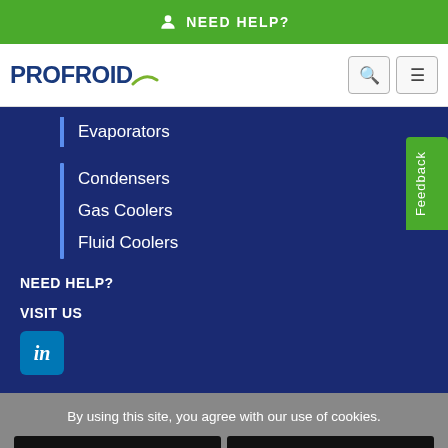NEED HELP?
[Figure (logo): PROFROID logo with green swoosh]
Evaporators
Condensers
Gas Coolers
Fluid Coolers
NEED HELP?
VISIT US
[Figure (logo): LinkedIn icon]
By using this site, you agree with our use of cookies.
I consent to cookies
Want to know more?
Read our Cookie Policy